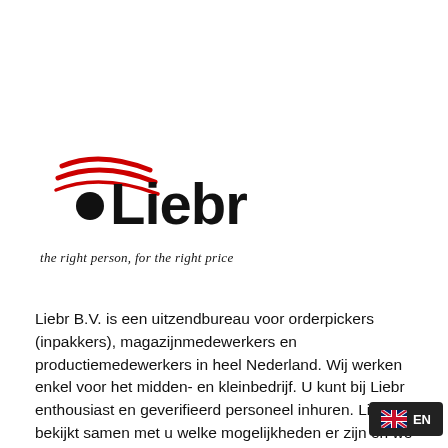[Figure (logo): Liebr logo: red swoosh lines above a black dot, bold black text 'Liebr', italic tagline 'the right person, for the right price']
Liebr B.V. is een uitzendbureau voor orderpickers (inpakkers), magazijnmedewerkers en productiemedewerkers in heel Nederland. Wij werken enkel voor het midden- en kleinbedrijf. U kunt bij Liebr enthousiast en geverifieerd personeel inhuren. Liebr bekijkt samen met u welke mogelijkheden er zijn en we het beste bij uw bedrijf en casus past. Liebr is enkel